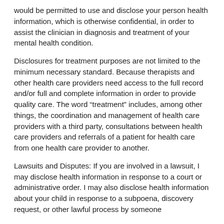would be permitted to use and disclose your person health information, which is otherwise confidential, in order to assist the clinician in diagnosis and treatment of your mental health condition.
Disclosures for treatment purposes are not limited to the minimum necessary standard. Because therapists and other health care providers need access to the full record and/or full and complete information in order to provide quality care. The word “treatment” includes, among other things, the coordination and management of health care providers with a third party, consultations between health care providers and referrals of a patient for health care from one health care provider to another.
Lawsuits and Disputes: If you are involved in a lawsuit, I may disclose health information in response to a court or administrative order. I may also disclose health information about your child in response to a subpoena, discovery request, or other lawful process by someone